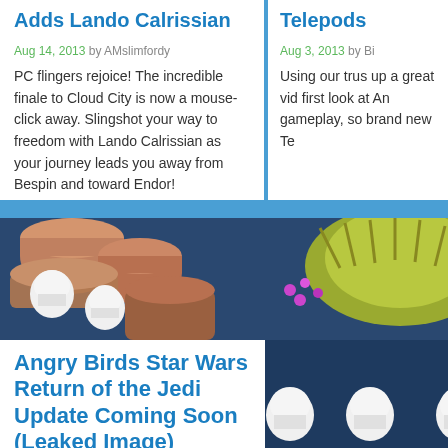Adds Lando Calrissian
Aug 14, 2013 by AMslimfordy
PC flingers rejoice! The incredible finale to Cloud City is now a mouse-click away. Slingshot your way to freedom with Lando Calrissian as your journey leads you away from Bespin and toward Endor!
Telepods
Aug 3, 2013 by Bi
Using our trus up a great vid first look at An gameplay, so brand new Te
[Figure (screenshot): Angry Birds Star Wars gameplay screenshot showing stormtrooper pigs, wooden structures, and a green pig character against a dark space background]
Angry Birds Star Wars Return of the Jedi Update Coming Soon (Leaked Image)